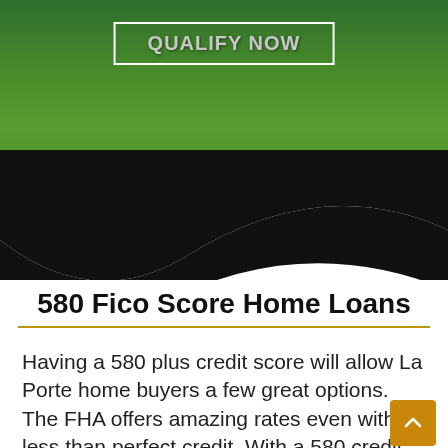[Figure (photo): Green lawn/grass background banner with 'QUALIFY NOW' button outlined in white, and NMLS disclaimer text at the bottom]
[Figure (illustration): Black swooping wave/ribbon shape transitioning from the green banner to white content area below]
580 Fico Score Home Loans
Having a 580 plus credit score will allow La Porte home buyers a few great options. The FHA offers amazing rates even with less than perfect credit. With a 580 credit score a down payment of 3.5% will be